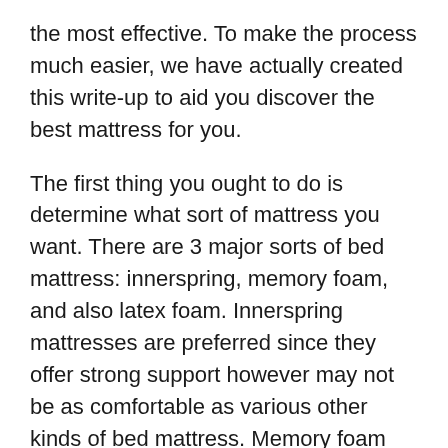the most effective. To make the process much easier, we have actually created this write-up to aid you discover the best mattress for you.
The first thing you ought to do is determine what sort of mattress you want. There are 3 major sorts of bed mattress: innerspring, memory foam, and also latex foam. Innerspring mattresses are preferred since they offer strong support however may not be as comfortable as various other kinds of bed mattress. Memory foam mattresses give comfort and also pressure alleviation while latex foam uses a more all-natural feel with much less activity transfer than innerspring or memory foam bed mattress.